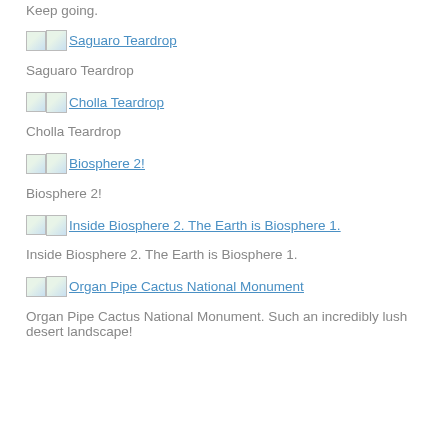Keep going.
[Figure (photo): Thumbnail image link: Saguaro Teardrop]
Saguaro Teardrop
[Figure (photo): Thumbnail image link: Cholla Teardrop]
Cholla Teardrop
[Figure (photo): Thumbnail image link: Biosphere 2!]
Biosphere 2!
[Figure (photo): Thumbnail image link: Inside Biosphere 2. The Earth is Biosphere 1.]
Inside Biosphere 2. The Earth is Biosphere 1.
[Figure (photo): Thumbnail image link: Organ Pipe Cactus National Monument]
Organ Pipe Cactus National Monument. Such an incredibly lush desert landscape!